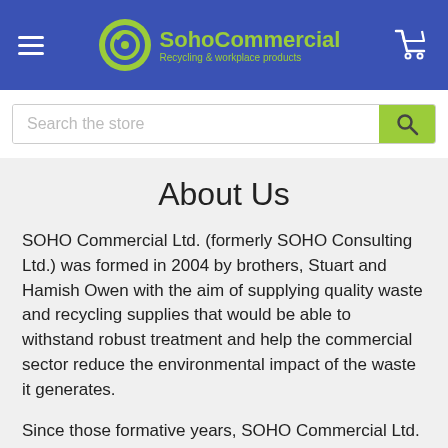SohoCommercial – Recycling & workplace products
Search the store
About Us
SOHO Commercial Ltd. (formerly SOHO Consulting Ltd.) was formed in 2004 by brothers, Stuart and Hamish Owen with the aim of supplying quality waste and recycling supplies that would be able to withstand robust treatment and help the commercial sector reduce the environmental impact of the waste it generates.
Since those formative years, SOHO Commercial Ltd. has expanded the range of brands and products stocked to include catering, cleaning, workplace health and safety equipment, and homewares, all of which have been designed to ensure that the core business remains intact…